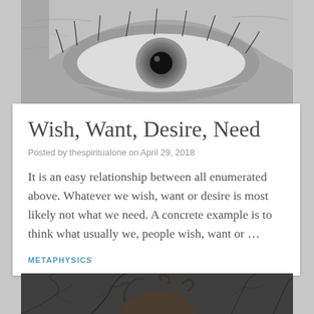[Figure (photo): Close-up black and white photograph of a human eye with detailed wrinkles and skin texture]
Wish, Want, Desire, Need
Posted by thespiritualone on April 29, 2018
It is an easy relationship between all enumerated above. Whatever we wish, want or desire is most likely not what we need. A concrete example is to think what usually we, people wish, want or …
METAPHYSICS
[Figure (photo): Black and white photograph of a person with curly hair surrounded by dark tree branch-like patterns]